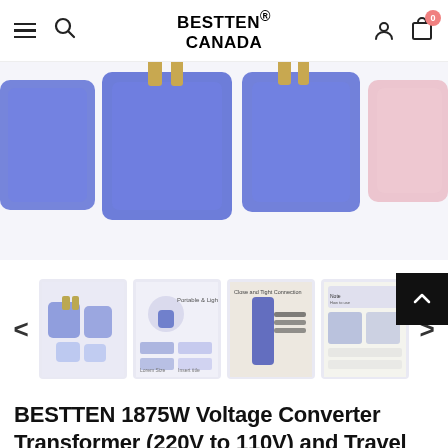BESTTEN® CANADA
[Figure (photo): Blue transparent travel plug adapters and voltage converter product shots showing multiple views on white background]
[Figure (photo): Row of product thumbnail images: multiple blue adapters set, portable/lightweight infographic, close-up connector photo, how-to-use instruction sheet]
BESTTEN 1875W Voltage Converter Transformer (220V to 110V) and Travel Plug Adapter for UK/AU/US/EU/Asia, Gift Pouch Included, CE and RoHS Certified